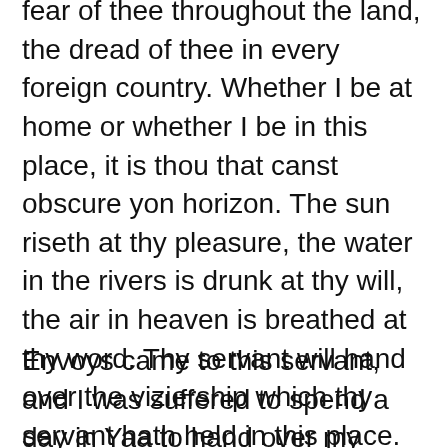fear of thee throughout the land, the dread of thee in every foreign country. Whether I be at home or whether I be in this place, it is thou that canst obscure yon horizon. The sun riseth at thy pleasure, the water in the rivers is drunk at thy will, the air in heaven is breathed at thy word. Thy servant will hand over the viziership which thy servant hath held in this place. But let Thy Majesty do as pleaseth thee. Men live by the breath that thou givest. Re, Horus and Hathor love this thy august nose, which Montu, lord of Thebes, wills shall live eternally.
Envoys came to this servant, and I was suffered to spend a day in Yaa to hand over my possessions to my children, my eldest son taking